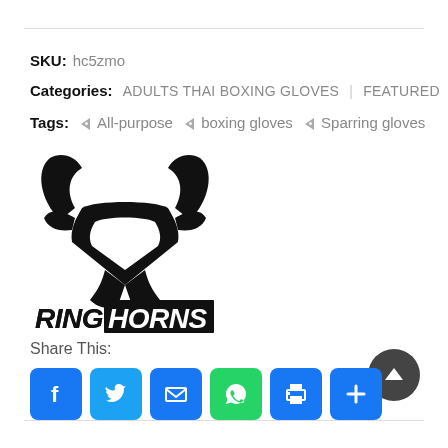SKU: hc5zmo
Categories: ADULTS THAI BOXING GLOVES | FEATURED
Tags: All-purpose boxing gloves Sparring gloves
[Figure (logo): Ringhorns brand logo: black bull horns icon above the word RINGHORNS in bold italic text]
Share This:
[Figure (infographic): Social media share buttons: Facebook, Twitter, Email, WhatsApp, Print, More]